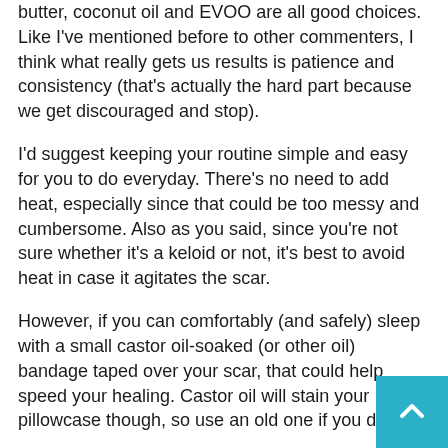butter, coconut oil and EVOO are all good choices. Like I've mentioned before to other commenters, I think what really gets us results is patience and consistency (that's actually the hard part because we get discouraged and stop).
I'd suggest keeping your routine simple and easy for you to do everyday. There's no need to add heat, especially since that could be too messy and cumbersome. Also as you said, since you're not sure whether it's a keloid or not, it's best to avoid heat in case it agitates the scar.
However, if you can comfortably (and safely) sleep with a small castor oil-soaked (or other oil) bandage taped over your scar, that could help speed your healing. Castor oil will stain your pillowcase though, so use an old one if you do this.
Which kind of iodine do you use, SSKI,lugol's,etc.? Have you experienced iododerma or brododerma? How exactly were you painting your scar and how often? What if if my normal tissue would get affected, I heard of cases where either nothing has happened at all, or some people